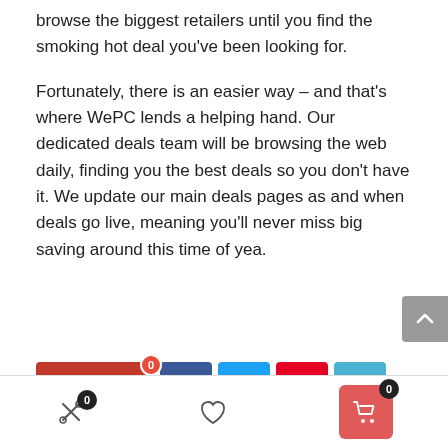browse the biggest retailers until you find the smoking hot deal you've been looking for.
Fortunately, there is an easier way – and that's where WePC lends a helping hand. Our dedicated deals team will be browsing the web daily, finding you the best deals so you don't have it. We update our main deals pages as and when deals go live, meaning you'll never miss big saving around this time of yea.
[Figure (infographic): Social sharing bar with Save button (red), Facebook (blue), Twitter (light blue), Pinterest (red), and Email (blue) icon buttons]
[Figure (infographic): Bottom navigation bar with compare icon with badge 0, heart/wishlist icon, and cart button (red) with badge 0]